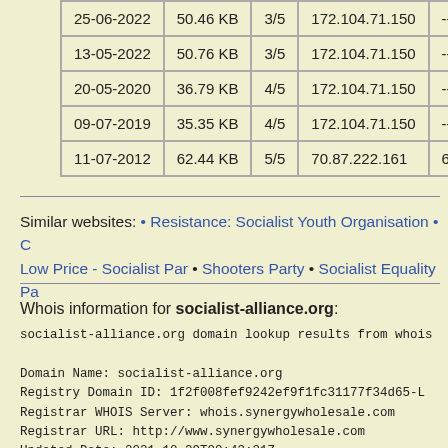| Date | Size | Score | IP | Links |  |
| --- | --- | --- | --- | --- | --- |
| 25-06-2022 | 50.46 KB | 3/5 | 172.104.71.150 | -- |  |
| 13-05-2022 | 50.76 KB | 3/5 | 172.104.71.150 | -- |  |
| 20-05-2020 | 36.79 KB | 4/5 | 172.104.71.150 | -- |  |
| 09-07-2019 | 35.35 KB | 4/5 | 172.104.71.150 | -- |  |
| 11-07-2012 | 62.44 KB | 5/5 | 70.87.222.161 | 6 |  |
Similar websites: • Resistance: Socialist Youth Organisation • C Low Price - Socialist Par • Shooters Party • Socialist Equality Pa
Whois information for socialist-alliance.org:
socialist-alliance.org domain lookup results from whois

Domain Name: socialist-alliance.org
Registry Domain ID: 1f2f008fef9242ef9f1fc31177f34d65-L
Registrar WHOIS Server: whois.synergywholesale.com
Registrar URL: http://www.synergywholesale.com
Updated Date: 2021-10-29T00:43:21Z
Creation Date: 2001-01-25T02:28:14Z